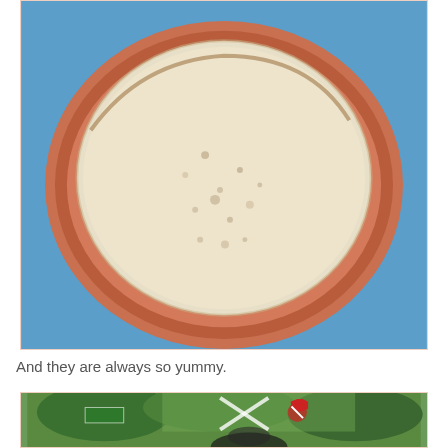[Figure (photo): A large round flatbread (tortilla or crepe) on a terracotta/salmon-colored ceramic plate, viewed from above. The background behind the plate is bright blue.]
And they are always so yummy.
[Figure (photo): Outdoor scene with green trees, road signs including a stop sign and no-left-turn sign, and a person visible at the bottom.]